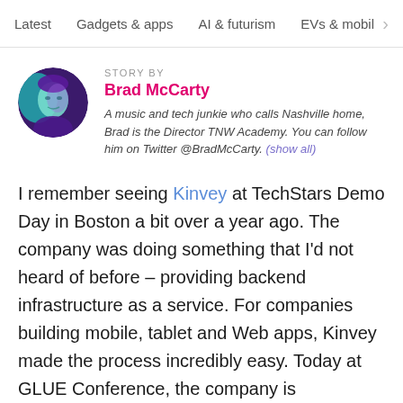Latest   Gadgets & apps   AI & futurism   EVs & mobil  >
STORY BY
Brad McCarty
A music and tech junkie who calls Nashville home, Brad is the Director TNW Academy. You can follow him on Twitter @BradMcCarty. (show all)
I remember seeing Kinvey at TechStars Demo Day in Boston a bit over a year ago. The company was doing something that I'd not heard of before – providing backend infrastructure as a service. For companies building mobile, tablet and Web apps, Kinvey made the process incredibly easy. Today at GLUE Conference, the company is announcing a